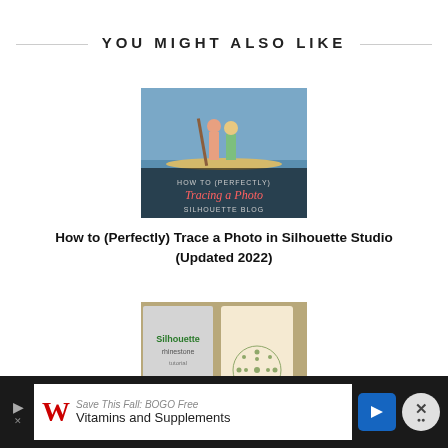YOU MIGHT ALSO LIKE
[Figure (photo): Thumbnail image for article about tracing a photo in Silhouette Studio — shows two people on a paddleboard over water with overlaid text]
How to (Perfectly) Trace a Photo in Silhouette Studio (Updated 2022)
[Figure (photo): Thumbnail image for article about Silhouette Rhinestone Sprays — shows a flour sack towel with rhinestone sunburst design]
How to Make Silhouette Rhinestone Sprays (Cut on Vinyl, HTV, &
[Figure (other): Walgreens advertisement banner: Save This Fall! BOGO Free Vitamins and Supplements]